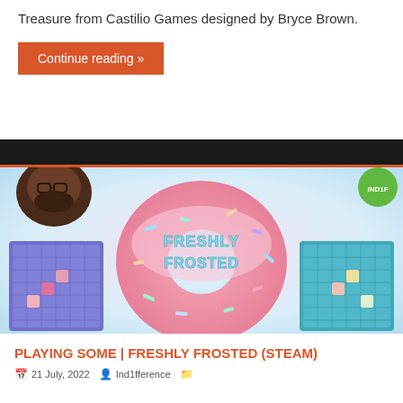Treasure from Castilio Games designed by Bryce Brown.
Continue reading »
[Figure (photo): Freshly Frosted game promotional image showing a large pink donut with teal 'Freshly Frosted' lettering, a person's face in the upper left, and two game board illustrations (purple/blue) on either side]
PLAYING SOME | FRESHLY FROSTED (STEAM)
21 July, 2022  Ind1fference